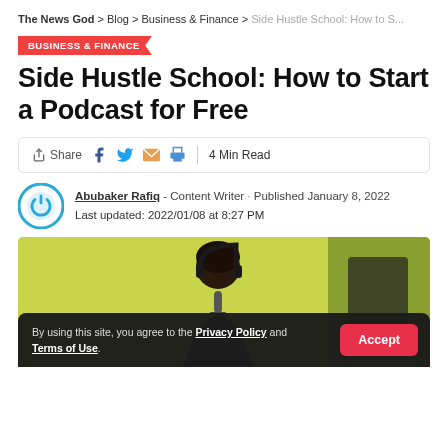The News God > Blog > Business & Finance > Side Hustle School: How to S...
BUSINESS & FINANCE
Side Hustle School: How to Start a Podcast for Free
Share | 4 Min Read
Abubaker Rafiq - Content Writer · Published January 8, 2022
Last updated: 2022/01/08 at 8:27 PM
[Figure (photo): Woman with headset at a microphone in a recording setup, with yellow-green background]
By using this site, you agree to the Privacy Policy and Terms of Use.